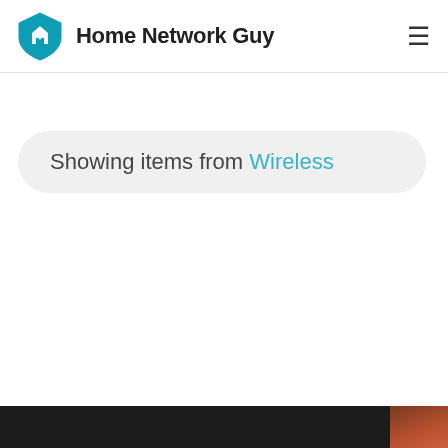Home Network Guy
Showing items from Wireless
[Figure (screenshot): Dark bottom banner strip, partially visible, with a small brownish-orange element at far right]